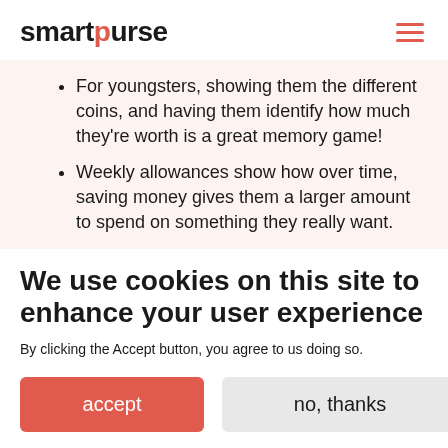smartpurse
For youngsters, showing them the different coins, and having them identify how much they're worth is a great memory game!
Weekly allowances show how over time, saving money gives them a larger amount to spend on something they really want.
We use cookies on this site to enhance your user experience
By clicking the Accept button, you agree to us doing so.
accept   no, thanks